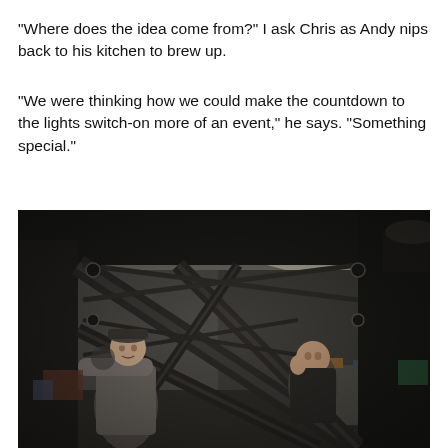“Where does the idea come from?” I ask Chris as Andy nips back to his kitchen to brew up.
“We were thinking how we could make the countdown to the lights switch-on more of an event,” he says. “Something special.”
[Figure (photo): Two men in a workshop or industrial space examining a large metal truss or scaffolding structure. The man on the left wears a flat cap and jacket and is leaning on the structure smiling. The man on the right is partially visible through the truss framework. Various equipment and tools are visible in the background.]